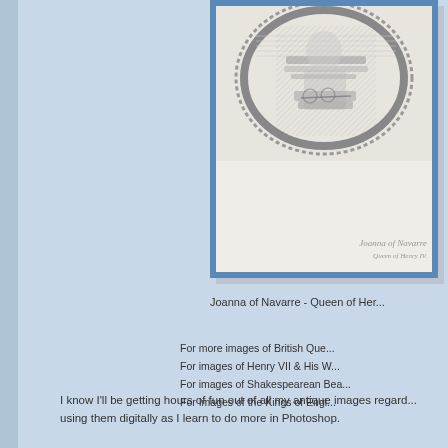[Figure (photo): Antique engraved portrait of Joanna of Navarre, Queen of Henry IV of England, shown partially cropped. The image has a blue border frame and shows an oval portrait with a signature below reading 'Joanna of Navarre' in cursive script.]
Joanna of Navarre - Queen of Her...
For more images of British Que...
For images of Henry VII & His W...
For images of Shakespearean Bea...
For Images of the Kings of Engl...
I know I'll be getting hours of fun out of all my antique images regard... using them digitally as I learn to do more in Photoshop.